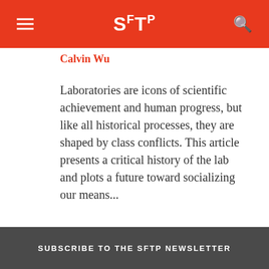SFTP
Calvin Wu
Laboratories are icons of scientific achievement and human progress, but like all historical processes, they are shaped by class conflicts. This article presents a critical history of the lab and plots a future toward socializing our means...
SUBSCRIBE TO THE SFTP NEWSLETTER